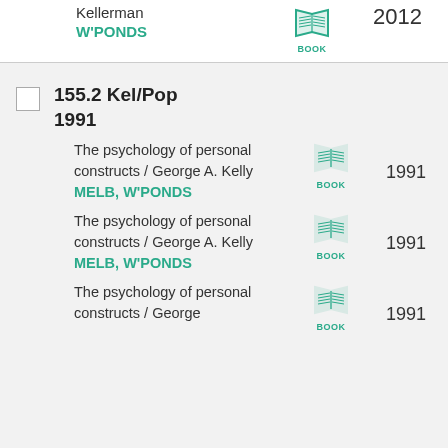Kellerman
W'PONDS
155.2 Kel/Pop 1991
The psychology of personal constructs / George A. Kelly MELB, W'PONDS
[Figure (illustration): Book icon with BOOK label]
1991
The psychology of personal constructs / George A. Kelly MELB, W'PONDS
[Figure (illustration): Book icon with BOOK label]
1991
The psychology of personal constructs / George
[Figure (illustration): Book icon with BOOK label]
1991